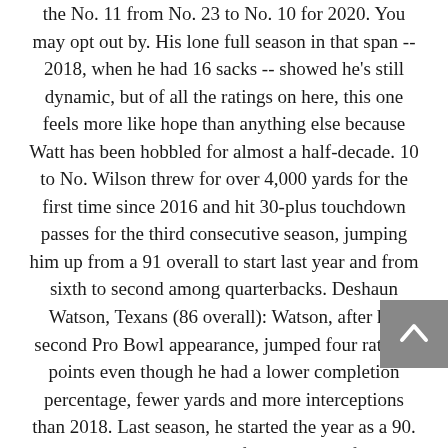the No. 11 from No. 23 to No. 10 for 2020. You may opt out by. His lone full season in that span -- 2018, when he had 16 sacks -- showed he's still dynamic, but of all the ratings on here, this one feels more like hope than anything else because Watt has been hobbled for almost a half-decade. 10 to No. Wilson threw for over 4,000 yards for the first time since 2016 and hit 30-plus touchdown passes for the third consecutive season, jumping him up from a 91 overall to start last year and from sixth to second among quarterbacks. Deshaun Watson, Texans (86 overall): Watson, after his second Pro Bowl appearance, jumped four ratings points even though he had a lower completion percentage, fewer yards and more interceptions than 2018. Last season, he started the year as a 90. It's a position where the fall can be swift and seemingly out of nowhere. Like Cook, he had his largest workload last season and rushed for 1,084 yards and tied Henry with 16 rushing touchdowns. Justin Simmons, Broncos (82 overall): Simmons got a franchise...